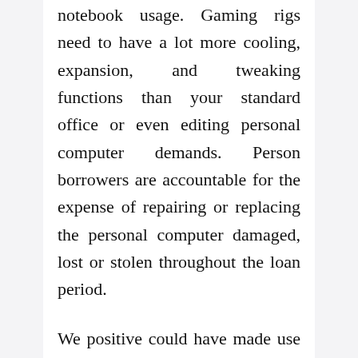notebook usage. Gaming rigs need to have a lot more cooling, expansion, and tweaking functions than your standard office or even editing personal computer demands. Person borrowers are accountable for the expense of repairing or replacing the personal computer damaged, lost or stolen throughout the loan period.
We positive could have made use of a 50 states notebook when I was developing up – there have been often a handful of states' capitols